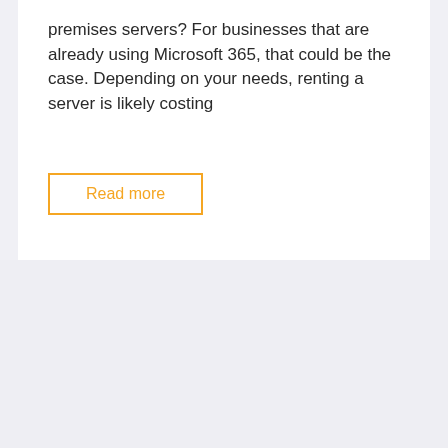premises servers? For businesses that are already using Microsoft 365, that could be the case. Depending on your needs, renting a server is likely costing
Read more